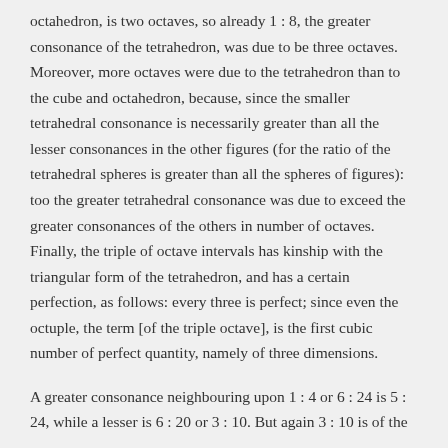octahedron, is two octaves, so already 1 : 8, the greater consonance of the tetrahedron, was due to be three octaves. Moreover, more octaves were due to the tetrahedron than to the cube and octahedron, because, since the smaller tetrahedral consonance is necessarily greater than all the lesser consonances in the other figures (for the ratio of the tetrahedral spheres is greater than all the spheres of figures): too the greater tetrahedral consonance was due to exceed the greater consonances of the others in number of octaves. Finally, the triple of octave intervals has kinship with the triangular form of the tetrahedron, and has a certain perfection, as follows: every three is perfect; since even the octuple, the term [of the triple octave], is the first cubic number of perfect quantity, namely of three dimensions.
A greater consonance neighbouring upon 1 : 4 or 6 : 24 is 5 : 24, while a lesser is 6 : 20 or 3 : 10. But again 3 : 10 is of the